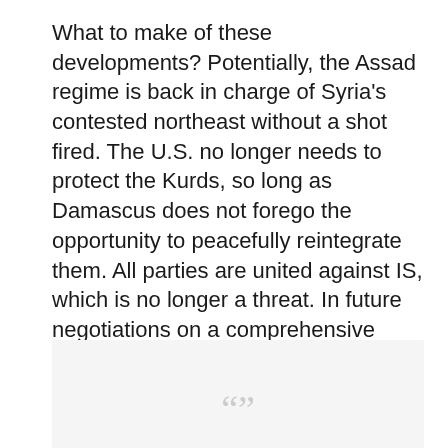What to make of these developments? Potentially, the Assad regime is back in charge of Syria's contested northeast without a shot fired. The U.S. no longer needs to protect the Kurds, so long as Damascus does not forego the opportunity to peacefully reintegrate them. All parties are united against IS, which is no longer a threat. In future negotiations on a comprehensive settlement in Syria, President Assad will be in charge, no longer contested by political opponents with foreign backing.
[Figure (other): Quote box with large quotation marks at the bottom of the page]